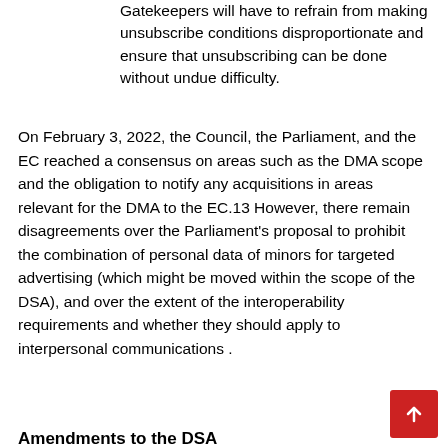Gatekeepers will have to refrain from making unsubscribe conditions disproportionate and ensure that unsubscribing can be done without undue difficulty.
On February 3, 2022, the Council, the Parliament, and the EC reached a consensus on areas such as the DMA scope and the obligation to notify any acquisitions in areas relevant for the DMA to the EC.13 However, there remain disagreements over the Parliament's proposal to prohibit the combination of personal data of minors for targeted advertising (which might be moved within the scope of the DSA), and over the extent of the interoperability requirements and whether they should apply to interpersonal communications .
Amendments to the DSA